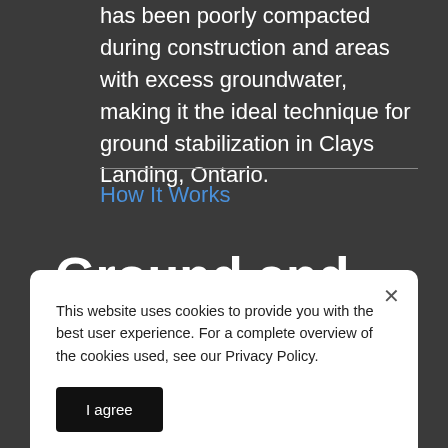has been poorly compacted during construction and areas with excess groundwater, making it the ideal technique for ground stabilization in Clays Landing, Ontario.
How It Works
Ground and Soil
This website uses cookies to provide you with the best user experience. For a complete overview of the cookies used, see our Privacy Policy.
soil stabilization. We then inject high-density polyurethane foam into the ground below the